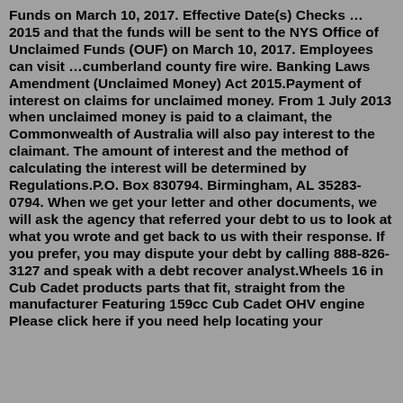Funds on March 10, 2017. Effective Date(s) Checks … 2015 and that the funds will be sent to the NYS Office of Unclaimed Funds (OUF) on March 10, 2017. Employees can visit …cumberland county fire wire. Banking Laws Amendment (Unclaimed Money) Act 2015.Payment of interest on claims for unclaimed money. From 1 July 2013 when unclaimed money is paid to a claimant, the Commonwealth of Australia will also pay interest to the claimant. The amount of interest and the method of calculating the interest will be determined by Regulations.P.O. Box 830794. Birmingham, AL 35283-0794. When we get your letter and other documents, we will ask the agency that referred your debt to us to look at what you wrote and get back to us with their response. If you prefer, you may dispute your debt by calling 888-826-3127 and speak with a debt recover analyst.Wheels 16 in Cub Cadet products parts that fit, straight from the manufacturer Featuring 159cc Cub Cadet OHV engine Please click here if you need help locating your